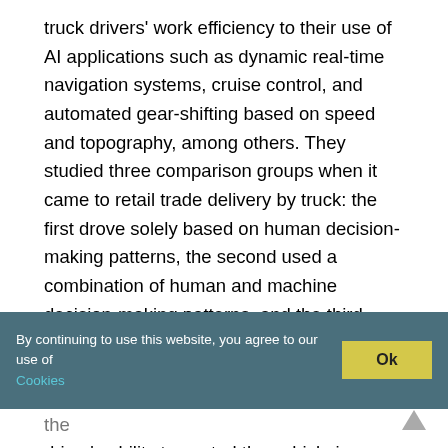truck drivers' work efficiency to their use of AI applications such as dynamic real-time navigation systems, cruise control, and automated gear-shifting based on speed and topography, among others. They studied three comparison groups when it came to retail trade delivery by truck: the first drove solely based on human decision-making patterns, the second used a combination of human and machine decision-making patterns, and the third relied solely on fully automated decisions.
By continuing to use this website, you agree to our use of Cookies
Artificial Intelligence will be used to improve the driver's ability to control the vehicle in a variety of operating conditions. However, the amount of AI software and hardware required will far outnumber